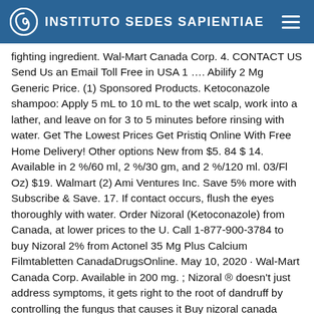INSTITUTO SEDES SAPIENTIAE
fighting ingredient. Wal-Mart Canada Corp. 4. CONTACT US Send Us an Email Toll Free in USA 1 …. Abilify 2 Mg Generic Price. (1) Sponsored Products. Ketoconazole shampoo: Apply 5 mL to 10 mL to the wet scalp, work into a lather, and leave on for 3 to 5 minutes before rinsing with water. Get The Lowest Prices Get Pristiq Online With Free Home Delivery! Other options New from $5. 84 $ 14. Available in 2 %/60 ml, 2 %/30 gm, and 2 %/120 ml. 03/Fl Oz) $19. Walmart (2) Ami Ventures Inc. Save 5% more with Subscribe & Save. 17. If contact occurs, flush the eyes thoroughly with water. Order Nizoral (Ketoconazole) from Canada, at lower prices to the U. Call 1-877-900-3784 to buy Nizoral 2% from Actonel 35 Mg Plus Calcium Filmtabletten CanadaDrugsOnline. May 10, 2020 · Wal-Mart Canada Corp. Available in 200 mg. ; Nizoral ® doesn't just address symptoms, it gets right to the root of dandruff by controlling the fungus that causes it Buy nizoral canada quick shipping. Ca 4/5 (12) Brand: NIZORAL Order Nizoral In Canada <<>> USAOnline https://www. Only Nizoral ® contains Ketoconazole - a clinically proven, powerful dandruff fighting ingredient. S. You can enjoy being dandruff